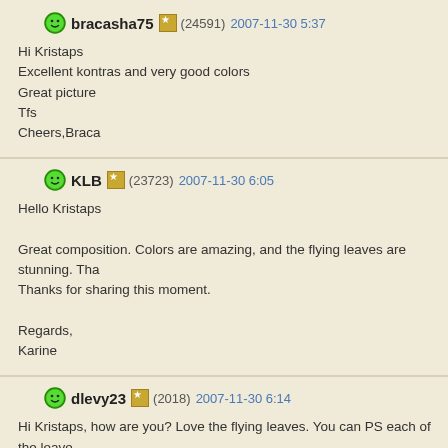bracasha75 (24591) 2007-11-30 5:37
Hi Kristaps
Excellent kontras and very good colors
Great picture
Tfs
Cheers,Braca
KLB (23723) 2007-11-30 6:05
Hello Kristaps
Great composition. Colors are amazing, and the flying leaves are stunning. Thanks for sharing this moment.
Regards,
Karine
dlevy23 (2018) 2007-11-30 6:14
Hi Kristaps, how are you? Love the flying leaves. You can PS each of the leaves kidding.
Nice colors on the trees and love the contrast with the blue sky.
Great job.